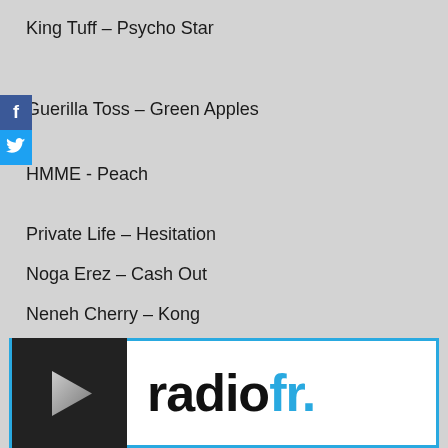King Tuff – Psycho Star
Guerilla Toss – Green Apples
HMME - Peach
Private Life – Hesitation
Noga Erez – Cash Out
Neneh Cherry – Kong
Sam Wilkes – Tonight
Peluché – Keep Making Me Happy
[Figure (logo): RadioFr. logo with play button icon on dark background, black and blue text on white background with blue border]